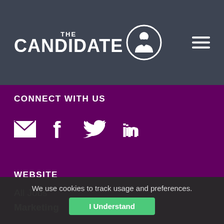THE CANDIDATE
CONNECT WITH US
[Figure (infographic): Social media icons: email envelope, Facebook f, Twitter bird, LinkedIn in]
WEBSITE
All Jobs
Marketing
Digital
Creative
Analytics
We use cookies to track usage and preferences.
I Understand